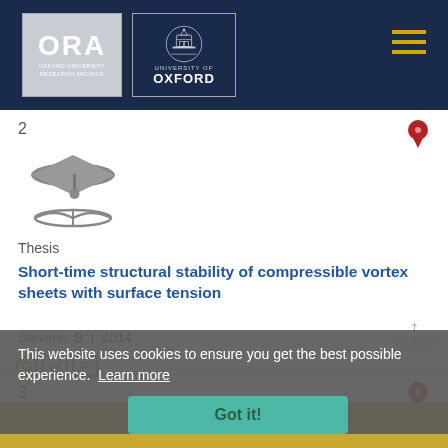[Figure (logo): ORA Oxford University Research Archive logo and University of Oxford crest logo in dark navy header with hamburger menu]
2
[Figure (illustration): Graduation cap and book icon (thesis symbol)]
Thesis
Short-time structural stability of compressible vortex sheets with surface tension
Stevens, B | 2014
TO TOP
3
This website uses cookies to ensure you get the best possible experience. Learn more
Got it!
FILTER RESULTS